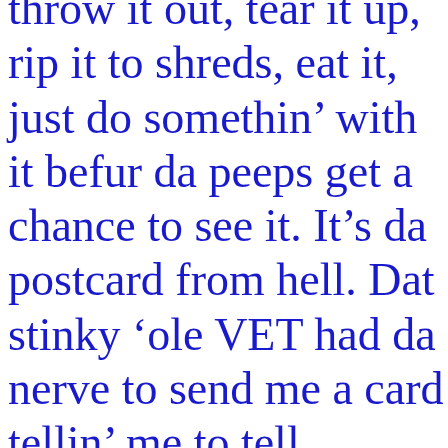throw it out, tear it up, rip it to shreds, eat it, just do somethin' with it befur da peeps get a chance to see it. It's da postcard from hell. Dat stinky 'ole VET had da nerve to send me a card tellin' me to tell mommy to call them up and make